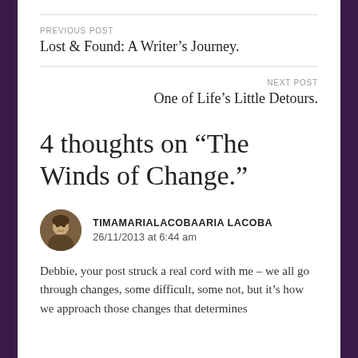PREVIOUS POST
Lost & Found: A Writer’s Journey.
NEXT POST
One of Life’s Little Detours.
4 thoughts on “The Winds of Change.”
TIMAMARIALACOBAARIA LACOBA
26/11/2013 at 6:44 am
Debbie, your post struck a real cord with me – we all go through changes, some difficult, some not, but it’s how we approach those changes that determines how we are shaped by them. You are a dear,